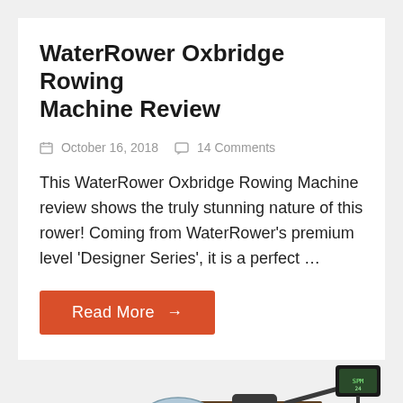WaterRower Oxbridge Rowing Machine Review
October 16, 2018   14 Comments
This WaterRower Oxbridge Rowing Machine review shows the truly stunning nature of this rower! Coming from WaterRower's premium level 'Designer Series', it is a perfect ...
Read More →
[Figure (photo): Partial image of a WaterRower Oxbridge rowing machine showing the wooden frame, seat, handle, and monitor display, cut off at the bottom of the page]